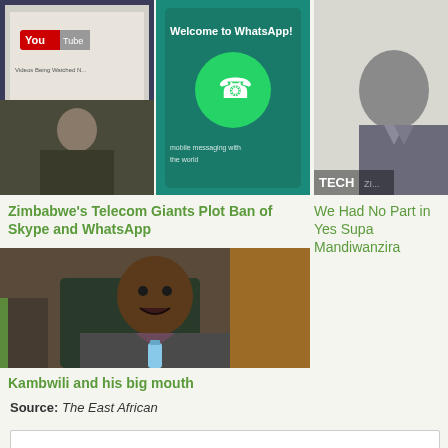[Figure (photo): Two small photos side by side: YouTube on a laptop screen and WhatsApp welcome screen on a phone]
Zimbabwe's Telecom Giants Plot Ban of Skype and WhatsApp
[Figure (photo): Partial photo of a man in a suit, with TECH watermark]
We Had No Part in Yes Supa Mandiwanzira
[Figure (photo): Photo of Kambwili, a man seated in a chair wearing a dark jacket]
Kambwili and his big mouth
Source: The East African